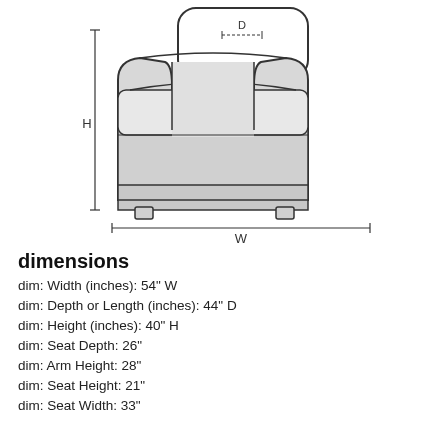[Figure (schematic): Front-view schematic drawing of an armchair with dimension labels: H (height) on the left vertical axis, W (width) along the bottom horizontal axis, and D (depth) indicated at the top near the back cushion.]
dimensions
dim: Width (inches): 54" W
dim: Depth or Length (inches): 44" D
dim: Height (inches): 40" H
dim: Seat Depth: 26"
dim: Arm Height: 28"
dim: Seat Height: 21"
dim: Seat Width: 33"